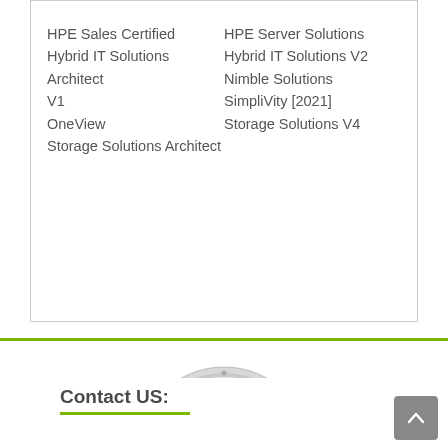HPE Sales Certified
Hybrid IT Solutions Architect V1
OneView
Storage Solutions Architect
HPE Server Solutions
Hybrid IT Solutions V2
Nimble Solutions
SimpliVity [2021]
Storage Solutions V4
[Figure (illustration): A circular badge/seal with blue and silver colors reading '100% SATISFACTION GUARANTEED' with a blue ribbon banner at the bottom also reading 'SATISFACTION GUARANTEED'.]
Contact US: